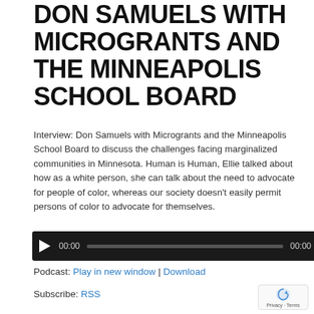DON SAMUELS WITH MICROGRANTS AND THE MINNEAPOLIS SCHOOL BOARD
Interview: Don Samuels with Microgrants and the Minneapolis School Board to discuss the challenges facing marginalized communities in Minnesota. Human is Human, Ellie talked about how as a white person, she can talk about the need to advocate for people of color, whereas our society doesn't easily permit persons of color to advocate for themselves.
[Figure (other): Audio player widget with play button, progress bar, and timestamps showing 00:00 on both sides]
Podcast: Play in new window | Download
Subscribe: RSS